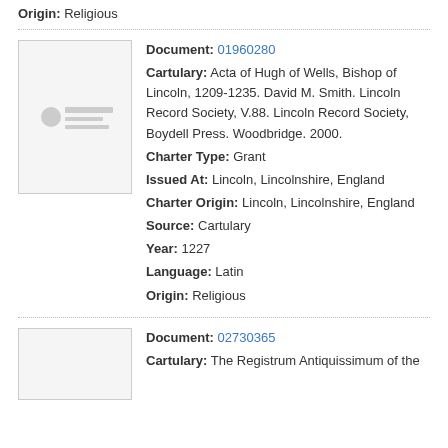Origin: Religious
Document: 01960280
Cartulary: Acta of Hugh of Wells, Bishop of Lincoln, 1209-1235. David M. Smith. Lincoln Record Society, V.88. Lincoln Record Society, Boydell Press. Woodbridge. 2000.
Charter Type: Grant
Issued At: Lincoln, Lincolnshire, England
Charter Origin: Lincoln, Lincolnshire, England
Source: Cartulary
Year: 1227
Language: Latin
Origin: Religious
Document: 02730365
Cartulary: The Registrum Antiquissimum of the